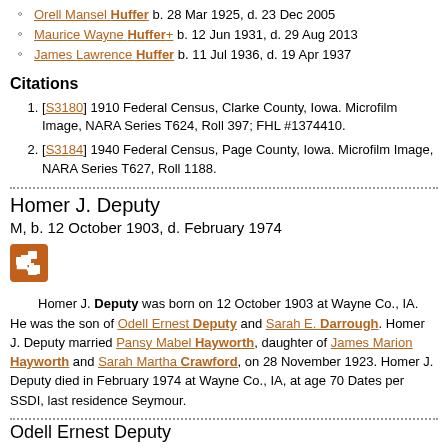Orell Mansel Huffer b. 28 Mar 1925, d. 23 Dec 2005
Maurice Wayne Huffer+ b. 12 Jun 1931, d. 29 Aug 2013
James Lawrence Huffer b. 11 Jul 1936, d. 19 Apr 1937
Citations
[S3180] 1910 Federal Census, Clarke County, Iowa. Microfilm Image, NARA Series T624, Roll 397; FHL #1374410.
[S3184] 1940 Federal Census, Page County, Iowa. Microfilm Image, NARA Series T627, Roll 1188.
Homer J. Deputy
M, b. 12 October 1903, d. February 1974
Homer J. Deputy was born on 12 October 1903 at Wayne Co., IA. He was the son of Odell Ernest Deputy and Sarah E. Darrough. Homer J. Deputy married Pansy Mabel Hayworth, daughter of James Marion Hayworth and Sarah Martha Crawford, on 28 November 1923. Homer J. Deputy died in February 1974 at Wayne Co., IA, at age 70 Dates per SSDI, last residence Seymour.
Odell Ernest Deputy